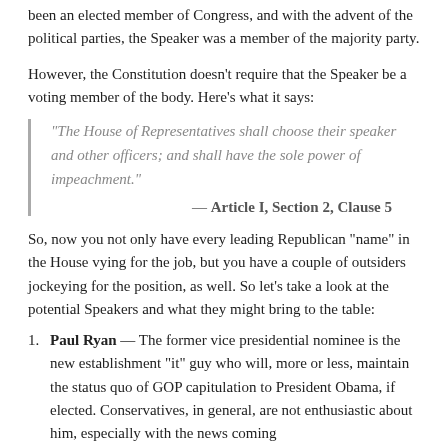been an elected member of Congress, and with the advent of the political parties, the Speaker was a member of the majority party.
However, the Constitution doesn't require that the Speaker be a voting member of the body. Here's what it says:
“The House of Representatives shall choose their speaker and other officers; and shall have the sole power of impeachment.”
— Article I, Section 2, Clause 5
So, now you not only have every leading Republican “name” in the House vying for the job, but you have a couple of outsiders jockeying for the position, as well. So let’s take a look at the potential Speakers and what they might bring to the table:
Paul Ryan — The former vice presidential nominee is the new establishment “it” guy who will, more or less, maintain the status quo of GOP capitulation to President Obama, if elected. Conservatives, in general, are not enthusiastic about him, especially with the news coming